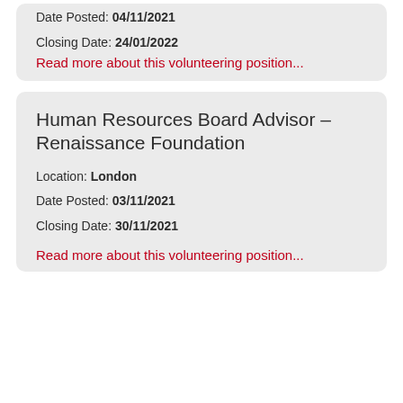Date Posted: 04/11/2021
Closing Date: 24/01/2022
Read more about this volunteering position...
Human Resources Board Advisor – Renaissance Foundation
Location: London
Date Posted: 03/11/2021
Closing Date: 30/11/2021
Read more about this volunteering position...